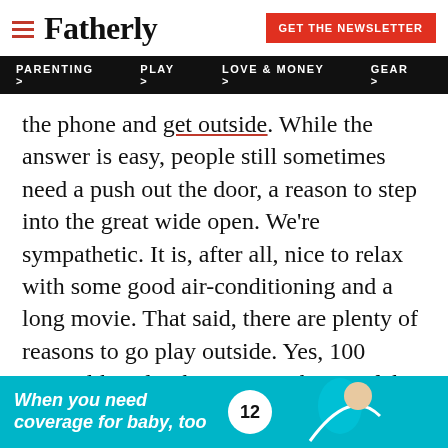Fatherly — GET THE NEWSLETTER
PARENTING > PLAY > LOVE & MONEY > GEAR >
the phone and get outside. While the answer is easy, people still sometimes need a push out the door, a reason to step into the great wide open. We're sympathetic. It is, after all, nice to relax with some good air-conditioning and a long movie. That said, there are plenty of reasons to go play outside. Yes, 100 seems like a lot, but it's just the tip of the glacier.
[Figure (infographic): Advertisement banner with teal background. Left side has bold italic white text 'When you need coverage for baby, too'. Right side shows a circular badge with number 12 and a partial image of a person.]